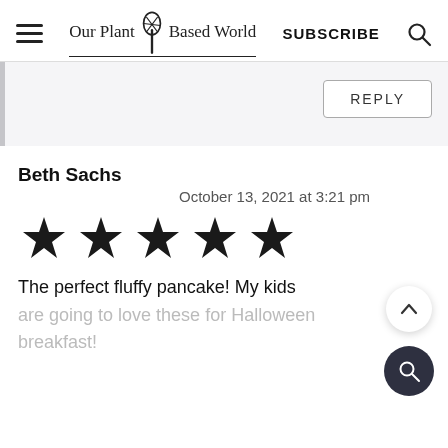Our Plant-Based World | SUBSCRIBE
REPLY
Beth Sachs
October 13, 2021 at 3:21 pm
[Figure (other): 5-star rating shown as 5 filled black stars]
The perfect fluffy pancake! My kids are going to love these for Halloween breakfast!